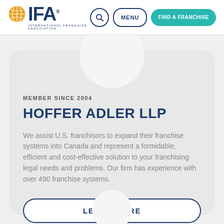[Figure (logo): IFA International Franchise Association logo with globe icon]
MEMBER SINCE 2004
HOFFER ADLER LLP
We assist U.S. franchisors to expand their franchise systems into Canada and represent a formidable, efficient and cost-effective solution to your franchising legal needs and problems. Our firm has experience with over 490 franchise systems.
LEARN MORE